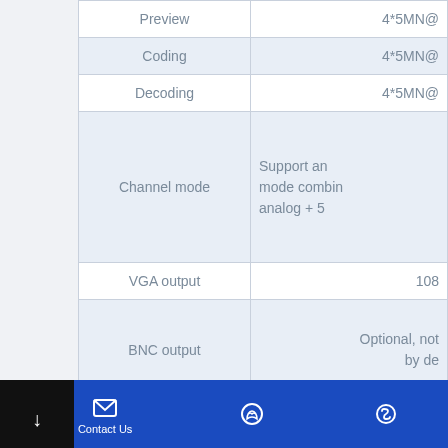|  |  |
| --- | --- |
| Preview | 4*5MN@... |
| Coding | 4*5MN@... |
| Decoding | 4*5MN@... |
| Channel mode | Support an mode combin analog + 5... |
| VGA output | 108... |
| BNC output | Optional, not by de... |
| HDMI output | 108... |
| Audio |  |
| Audio Input | 1... |
| Audio output | 1... |
| Coaxial audio | 4... |
Contact Us